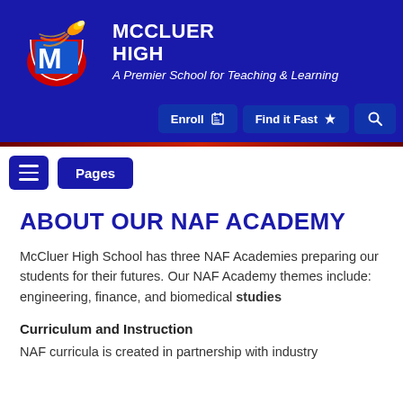[Figure (logo): McCluer High School logo: red letter M with flame/comet on blue background]
MCCLUER HIGH
A Premier School for Teaching & Learning
Enroll | Find it Fast | Search
Pages
ABOUT OUR NAF ACADEMY
McCluer High School has three NAF Academies preparing our students for their futures. Our NAF Academy themes include: engineering, finance, and biomedical studies
Curriculum and Instruction
NAF curricula is created in partnership with industry